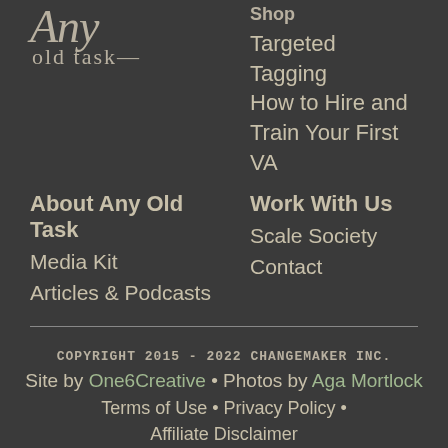[Figure (logo): Any old task logo in cursive/script style text on dark background]
Shop
Targeted Tagging
How to Hire and Train Your First VA
About Any Old Task
Work With Us
Media Kit
Scale Society
Articles & Podcasts
Contact
COPYRIGHT 2015 - 2022 CHANGEMAKER INC.
Site by One6Creative • Photos by Aga Mortlock
Terms of Use • Privacy Policy • Affiliate Disclaimer